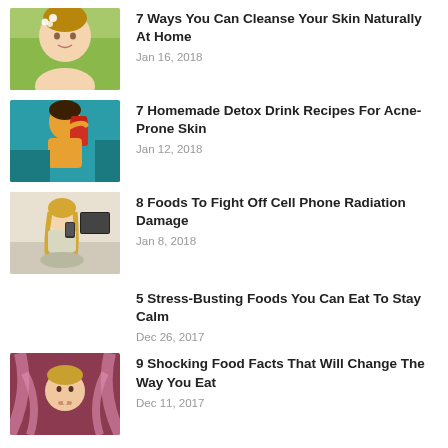[Figure (photo): Woman with white flowers in hair, natural skin, green background]
7 Ways You Can Cleanse Your Skin Naturally At Home
Jan 16, 2018
[Figure (illustration): Illustrated woman drinking from a red cup, colorful art style, teal background]
7 Homemade Detox Drink Recipes For Acne-Prone Skin
Jan 12, 2018
[Figure (photo): Woman sitting cross-legged on bed using a cell phone]
8 Foods To Fight Off Cell Phone Radiation Damage
Jan 8, 2018
5 Stress-Busting Foods You Can Eat To Stay Calm
Dec 26, 2017
[Figure (photo): Woman surrounded by surreal pink tentacle-like forms]
9 Shocking Food Facts That Will Change The Way You Eat
Dec 11, 2017